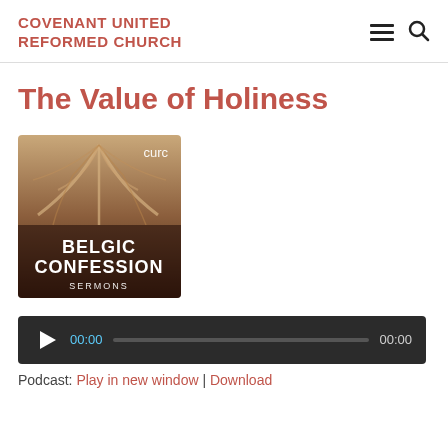COVENANT UNITED REFORMED CHURCH
The Value of Holiness
[Figure (illustration): Podcast cover art for Belgic Confession Sermons — cathedral vaulted ceiling in warm tones with text: curc, BELGIC CONFESSION, SERMONS]
[Figure (screenshot): Audio player bar with play button, time 00:00, progress bar, and end time 00:00]
Podcast: Play in new window | Download